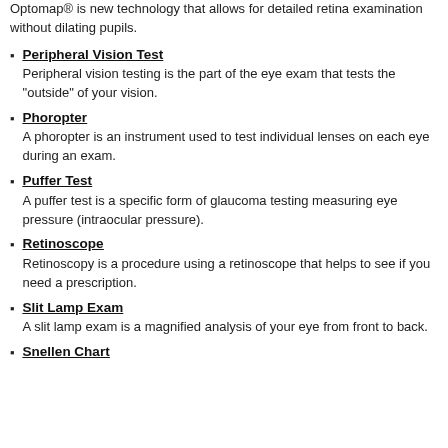Optomap® is new technology that allows for detailed retina examination without dilating pupils.
Peripheral Vision Test
Peripheral vision testing is the part of the eye exam that tests the “outside” of your vision.
Phoropter
A phoropter is an instrument used to test individual lenses on each eye during an exam.
Puffer Test
A puffer test is a specific form of glaucoma testing measuring eye pressure (intraocular pressure).
Retinoscope
Retinoscopy is a procedure using a retinoscope that helps to see if you need a prescription.
Slit Lamp Exam
A slit lamp exam is a magnified analysis of your eye from front to back.
Snellen Chart